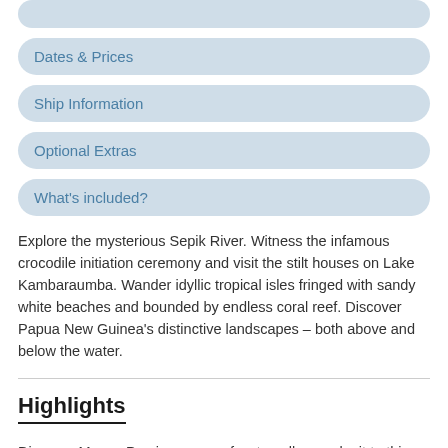Dates & Prices
Ship Information
Optional Extras
What's included?
Explore the mysterious Sepik River. Witness the infamous crocodile initiation ceremony and visit the stilt houses on Lake Kambaraumba. Wander idyllic tropical isles fringed with sandy white beaches and bounded by endless coral reef. Discover Papua New Guinea's distinctive landscapes – both above and below the water.
Highlights
Discover Manus Province – very few travellers make it to this